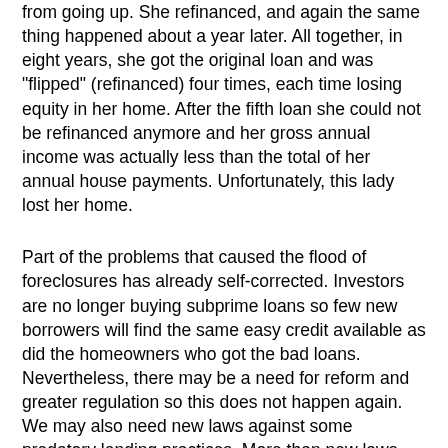from going up. She refinanced, and again the same thing happened about a year later. All together, in eight years, she got the original loan and was "flipped" (refinanced) four times, each time losing equity in her home. After the fifth loan she could not be refinanced anymore and her gross annual income was actually less than the total of her annual house payments. Unfortunately, this lady lost her home.
Part of the problems that caused the flood of foreclosures has already self-corrected. Investors are no longer buying subprime loans so few new borrowers will find the same easy credit available as did the homeowners who got the bad loans. Nevertheless, there may be a need for reform and greater regulation so this does not happen again. We may also need new laws against some predatory lending practices. More than new laws however, we need vigorous enforcement of existing lending laws and prosecution of offenders. A lot of people need to go to jail. Mortgage lending needs to become a profession with licensing and a code of ethics. We also need basic financial literacy taught in schools and we need policies that encourage savings.